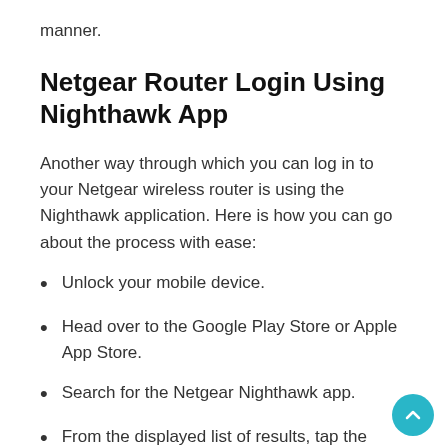manner.
Netgear Router Login Using Nighthawk App
Another way through which you can log in to your Netgear wireless router is using the Nighthawk application. Here is how you can go about the process with ease:
Unlock your mobile device.
Head over to the Google Play Store or Apple App Store.
Search for the Netgear Nighthawk app.
From the displayed list of results, tap the Download button.